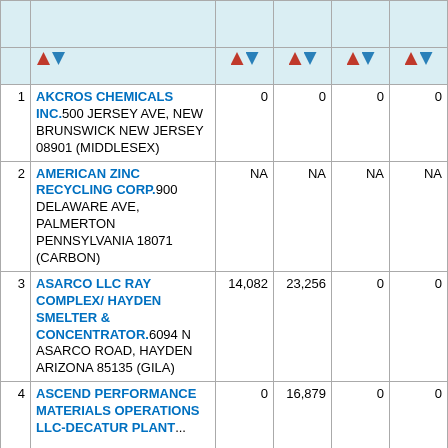| # | Facility Name/Address | Col A | Col B | Col C | Col D |
| --- | --- | --- | --- | --- | --- |
| 1 | AKCROS CHEMICALS INC.500 JERSEY AVE, NEW BRUNSWICK NEW JERSEY 08901 (MIDDLESEX) | 0 | 0 | 0 | 0 |
| 2 | AMERICAN ZINC RECYCLING CORP.900 DELAWARE AVE, PALMERTON PENNSYLVANIA 18071 (CARBON) | NA | NA | NA | NA |
| 3 | ASARCO LLC RAY COMPLEX/ HAYDEN SMELTER & CONCENTRATOR.6094 N ASARCO ROAD, HAYDEN ARIZONA 85135 (GILA) | 14,082 | 23,256 | 0 | 0 |
| 4 | ASCEND PERFORMANCE MATERIALS OPERATIONS LLC-DECATUR PLANT... | 0 | 16,879 | 0 | 0 |